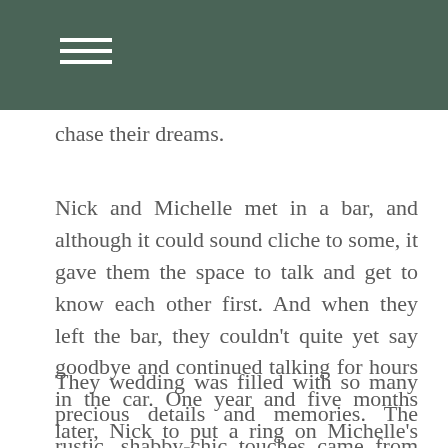chase their dreams.
Nick and Michelle met in a bar, and although it could sound cliche to some, it gave them the space to talk and get to know each other first. And when they left the bar, they couldn't quite yet say goodbye and continued talking for hours in the car. One year and five months later, Nick to put a ring on Michelle's finger in the middle of their living room and ask her to be his wife.
They wedding was filled with so many precious details and memories. The rustic, shabby-chic touches came from their parent's retail shop out of state. They included photos from all the